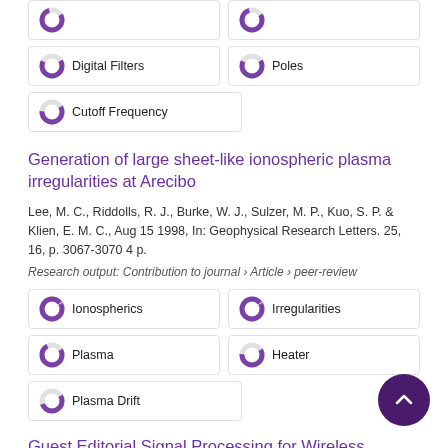Digital Filters
Poles
Cutoff Frequency
Generation of large sheet-like ionospheric plasma irregularities at Arecibo
Lee, M. C., Riddolls, R. J., Burke, W. J., Sulzer, M. P., Kuo, S. P. & Klien, E. M. C., Aug 15 1998, In: Geophysical Research Letters. 25, 16, p. 3067-3070 4 p.
Research output: Contribution to journal › Article › peer-review
Ionospherics
Irregularities
Plasma
Heater
Plasma Drift
Guest Editorial Signal Processing for Wireless Communications I